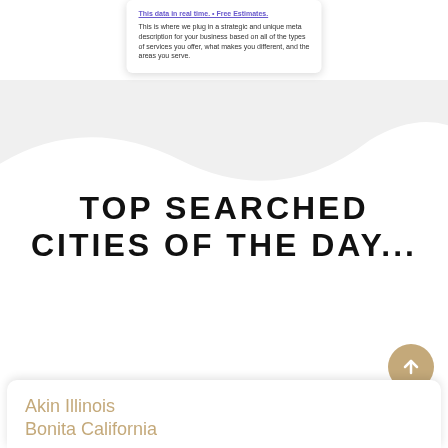[Figure (screenshot): Partial card/tooltip showing a purple hyperlink and meta description text about plugging in a strategic and unique meta description for your business based on all of the types of services you offer, what makes you different, and the areas you serve.]
TOP SEARCHED CITIES OF THE DAY...
Akin Illinois
Bonita California